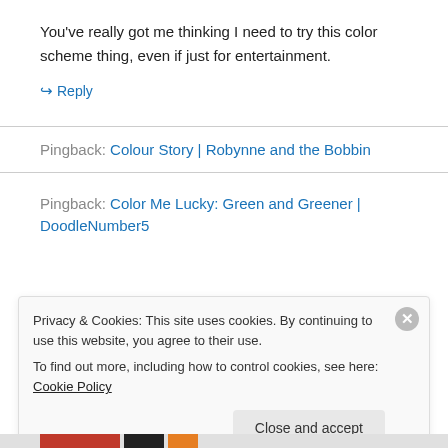You've really got me thinking I need to try this color scheme thing, even if just for entertainment.
↪ Reply
Pingback: Colour Story | Robynne and the Bobbin
Pingback: Color Me Lucky: Green and Greener | DoodleNumber5
Privacy & Cookies: This site uses cookies. By continuing to use this website, you agree to their use.
To find out more, including how to control cookies, see here: Cookie Policy
Close and accept